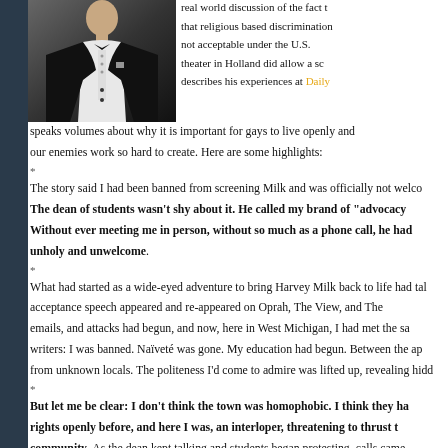[Figure (photo): A man in a black tuxedo with white shirt, photographed from roughly chest up, dark background]
real world discussion of the fact that religious based discrimination not acceptable under the U.S. theater in Holland did allow a sc describes his experiences at Daily speaks volumes about why it is important for gays to live openly and our enemies work so hard to create. Here are some highlights:
*
The story said I had been banned from screening Milk and was officially not welc The dean of students wasn't shy about it. He called my brand of "advocacy Without ever meeting me in person, without so much as a phone call, he had unholy and unwelcome.
*
What had started as a wide-eyed adventure to bring Harvey Milk back to life had ta acceptance speech appeared and re-appeared on Oprah, The View, and The emails, and attacks had begun, and now, here in West Michigan, I had met the s writers: I was banned. Naïveté was gone. My education had begun. Between the ap from unknown locals. The politeness I'd come to admire was lifted up, revealing hid
*
But let me be clear: I don't think the town was homophobic. I think they ha rights openly before, and here I was, an interloper, threatening to thrust t community. As the dean kept talking and students began protesting, calls came San Francisco, and New York. I did my best to stay focused, wrap up production, my editing room out of West Michigan.